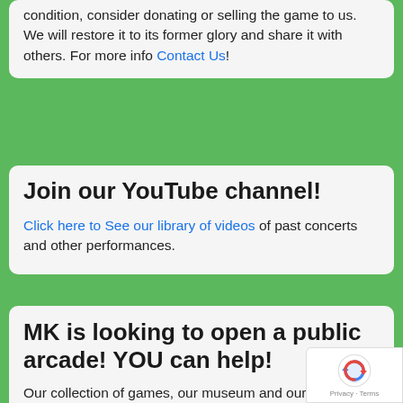condition, consider donating or selling the game to us. We will restore it to its former glory and share it with others. For more info Contact Us!
Join our YouTube channel!
Click here to See our library of videos of past concerts and other performances.
MK is looking to open a public arcade! YOU can help!
Our collection of games, our museum and our expertise in restoring, maintaining and operating the South's largest collection of vintage coin-op